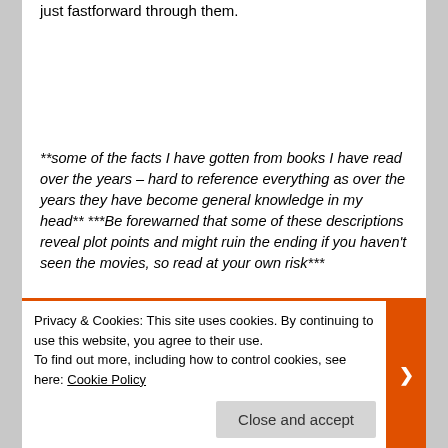just fastforward through them.
**some of the facts I have gotten from books I have read over the years – hard to reference everything as over the years they have become general knowledge in my head** ***Be forewarned that some of these descriptions reveal plot points and might ruin the ending if you haven't seen the movies, so read at your own risk***
[Figure (photo): Black rectangular image strip at bottom of content area]
Privacy & Cookies: This site uses cookies. By continuing to use this website, you agree to their use.
To find out more, including how to control cookies, see here: Cookie Policy
Close and accept